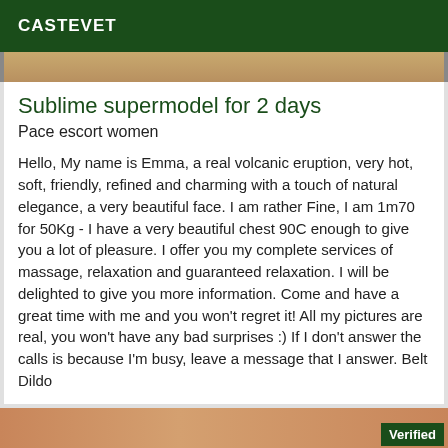CASTEVET
[Figure (photo): Top strip showing a wooden surface background image]
Sublime supermodel for 2 days
Pace escort women
Hello, My name is Emma, a real volcanic eruption, very hot, soft, friendly, refined and charming with a touch of natural elegance, a very beautiful face. I am rather Fine, I am 1m70 for 50Kg - I have a very beautiful chest 90C enough to give you a lot of pleasure. I offer you my complete services of massage, relaxation and guaranteed relaxation. I will be delighted to give you more information. Come and have a great time with me and you won't regret it! All my pictures are real, you won't have any bad surprises :) If I don't answer the calls is because I'm busy, leave a message that I answer. Belt Dildo
[Figure (photo): Bottom strip showing a person with red accessories, with a green Verified badge in the lower right corner]